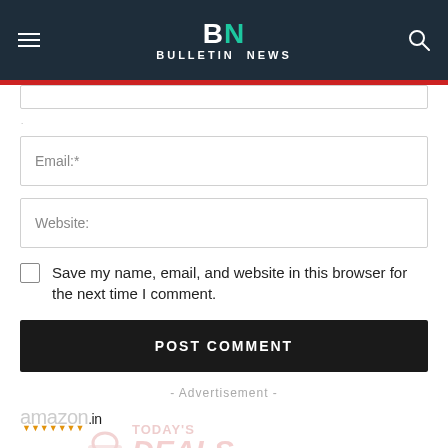BN BULLETIN NEWS
Email:*
Website:
Save my name, email, and website in this browser for the next time I comment.
POST COMMENT
- Advertisement -
[Figure (logo): amazon.in logo with Today's Deals watermark text and shopping bag icon]